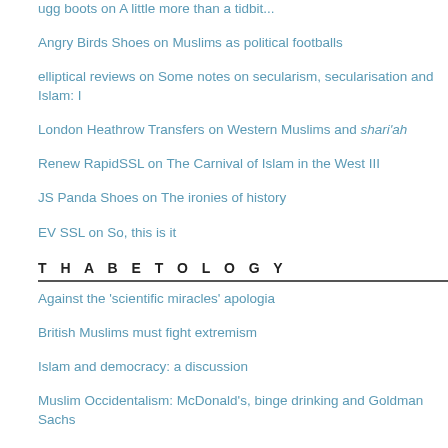ugg boots on A little more than a tidbit...
Angry Birds Shoes on Muslims as political footballs
elliptical reviews on Some notes on secularism, secularisation and Islam: I
London Heathrow Transfers on Western Muslims and shari'ah
Renew RapidSSL on The Carnival of Islam in the West III
JS Panda Shoes on The ironies of history
EV SSL on So, this is it
THABETOLOGY
Against the 'scientific miracles' apologia
British Muslims must fight extremism
Islam and democracy: a discussion
Muslim Occidentalism: McDonald's, binge drinking and Goldman Sachs
On authority